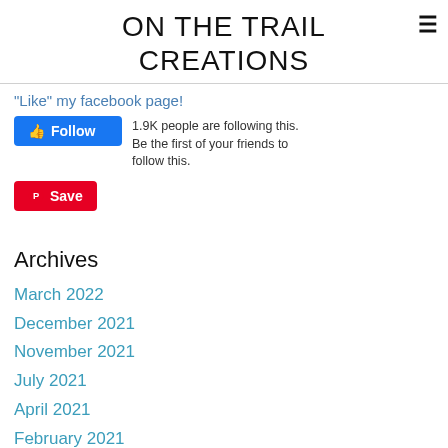ON THE TRAIL CREATIONS
"Like" my facebook page!
[Figure (screenshot): Facebook Follow button with thumbs up icon, blue background, white text 'Follow']
1.9K people are following this. Be the first of your friends to follow this.
[Figure (screenshot): Pinterest Save button, red background, white Pinterest logo and text 'Save']
Archives
March 2022
December 2021
November 2021
July 2021
April 2021
February 2021
January 2021
November 2020